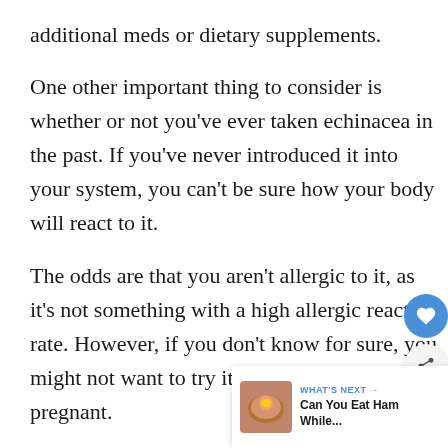additional meds or dietary supplements.
One other important thing to consider is whether or not you've ever taken echinacea in the past. If you've never introduced it into your system, you can't be sure how your body will react to it.
The odds are that you aren't allergic to it, as it's not something with a high allergic reaction rate. However, if you don't know for sure, you might not want to try it for the first time pregnant.